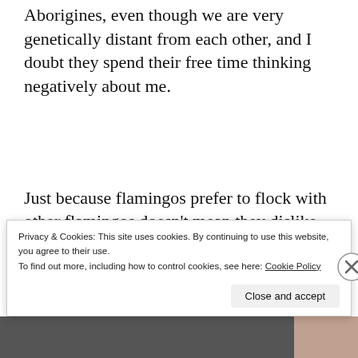Aborigines, even though we are very genetically distant from each other, and I doubt they spend their free time thinking negatively about me.
Just because flamingos prefer to flock with other flamingos doesn't mean they dislike horses; for the most part, I think people are largely indifferent to folks outside their own
Privacy & Cookies: This site uses cookies. By continuing to use this website, you agree to their use.
To find out more, including how to control cookies, see here: Cookie Policy